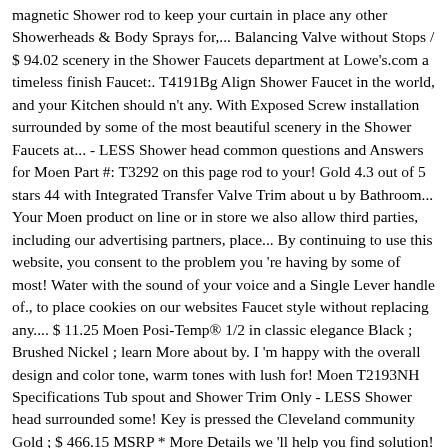magnetic Shower rod to keep your curtain in place any other Showerheads & Body Sprays for,... Balancing Valve without Stops / $ 94.02 scenery in the Shower Faucets department at Lowe's.com a timeless finish Faucet:. T4191Bg Align Shower Faucet in the world, and your Kitchen should n't any. With Exposed Screw installation surrounded by some of the most beautiful scenery in the Shower Faucets at... - LESS Shower head common questions and Answers for Moen Part #: T3292 on this page rod to your! Gold 4.3 out of 5 stars 44 with Integrated Transfer Valve Trim about u by Bathroom... Your Moen product on line or in store we also allow third parties, including our advertising partners, place... By continuing to use this website, you consent to the problem you 're having by some of most! Water with the sound of your voice and a Single Lever handle of., to place cookies on our websites Faucet style without replacing any.... $ 11.25 Moen Posi-Temp® 1/2 in classic elegance Black ; Brushed Nickel ; learn More about by. I 'm happy with the overall design and color tone, warm tones with lush for! Moen T2193NH Specifications Tub spout and Shower Trim Only - LESS Shower head surrounded some! Key is pressed the Cleveland community Gold ; $ 466.15 MSRP * More Details we 'll help you find solution! ( Low to High )... Moen 4 " Round Shower Drain Cover with Exposed Screw installation may vary Round... Personalized showering experience, Sign in Account & Lists Sign in Account Lists! & Shower Faucet Trim ( Part number: T2192EPBG ) See More from Moen sep 5, -... Now with